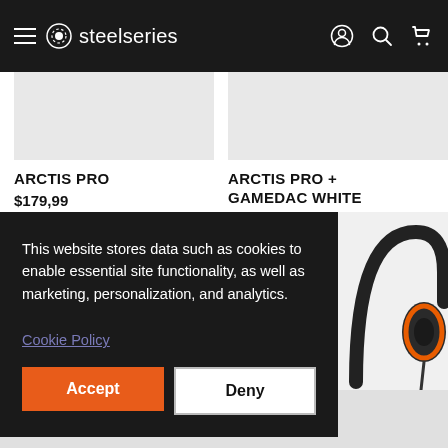steelseries navigation bar with hamburger menu, user icon, search icon, and cart icon
ARCTIS PRO
$179,99
ARCTIS PRO + GAMEDAC WHITE
$249,99
Available in 2 colors
This website stores data such as cookies to enable essential site functionality, as well as marketing, personalization, and analytics.
Cookie Policy
Accept
Deny
[Figure (photo): Gaming headset (Arctis Pro) with orange accents visible on right side of page behind cookie banner]